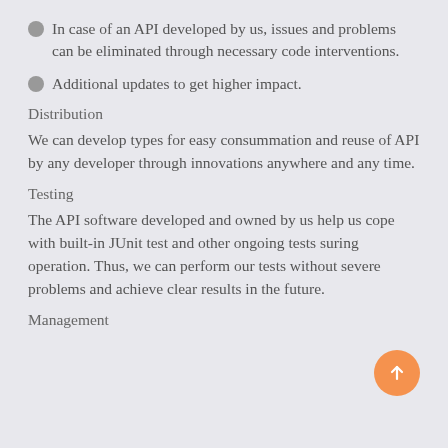In case of an API developed by us, issues and problems can be eliminated through necessary code interventions.
Additional updates to get higher impact.
Distribution
We can develop types for easy consummation and reuse of API by any developer through innovations anywhere and any time.
Testing
The API software developed and owned by us help us cope with built-in JUnit test and other ongoing tests suring operation. Thus, we can perform our tests without severe problems and achieve clear results in the future.
Management